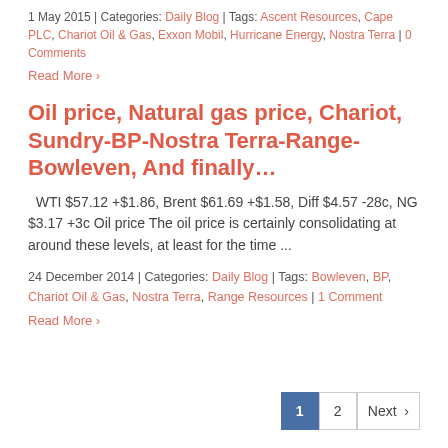1 May 2015 | Categories: Daily Blog | Tags: Ascent Resources, Cape PLC, Chariot Oil & Gas, Exxon Mobil, Hurricane Energy, Nostra Terra | 0 Comments
Read More >
Oil price, Natural gas price, Chariot, Sundry-BP-Nostra Terra-Range-Bowleven, And finally…
WTI $57.12 +$1.86, Brent $61.69 +$1.58, Diff $4.57 -28c, NG $3.17 +3c Oil price The oil price is certainly consolidating at around these levels, at least for the time ...
24 December 2014 | Categories: Daily Blog | Tags: Bowleven, BP, Chariot Oil & Gas, Nostra Terra, Range Resources | 1 Comment
Read More >